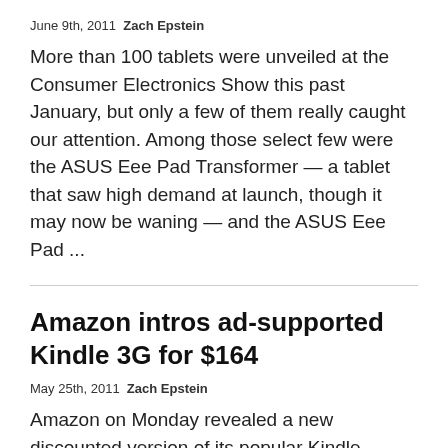June 9th, 2011  Zach Epstein
More than 100 tablets were unveiled at the Consumer Electronics Show this past January, but only a few of them really caught our attention. Among those select few were the ASUS Eee Pad Transformer — a tablet that saw high demand at launch, though it may now be waning — and the ASUS Eee Pad ...
Amazon intros ad-supported Kindle 3G for $164
May 25th, 2011  Zach Epstein
Amazon on Monday revealed a new discounted version of its popular Kindle eBook reader. Amazon's announcement came on the same day Barnes & Noble announced its all-new NOOK eReader. When asked